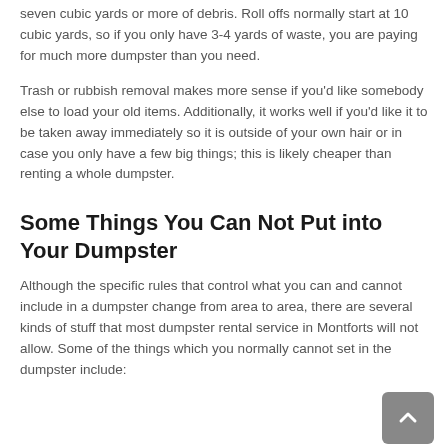seven cubic yards or more of debris. Roll offs normally start at 10 cubic yards, so if you only have 3-4 yards of waste, you are paying for much more dumpster than you need.
Trash or rubbish removal makes more sense if you'd like somebody else to load your old items. Additionally, it works well if you'd like it to be taken away immediately so it is outside of your own hair or in case you only have a few big things; this is likely cheaper than renting a whole dumpster.
Some Things You Can Not Put into Your Dumpster
Although the specific rules that control what you can and cannot include in a dumpster change from area to area, there are several kinds of stuff that most dumpster rental service in Montforts will not allow. Some of the things which you normally cannot set in the dumpster include: